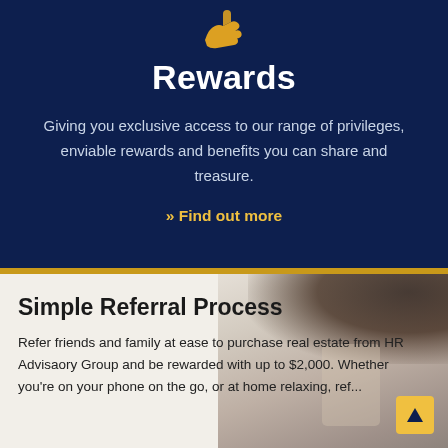[Figure (illustration): Yellow hand/giving icon on dark navy background]
Rewards
Giving you exclusive access to our range of privileges, enviable rewards and benefits you can share and treasure.
>> Find out more
Simple Referral Process
Refer friends and family at ease to purchase real estate from HR Advisaory Group and be rewarded with up to $2,000. Whether you're on your phone on the go, or at home relaxing, ref...